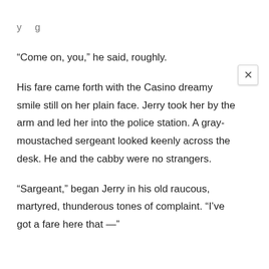y g
“Come on, you,” he said, roughly.
His fare came forth with the Casino dreamy smile still on her plain face. Jerry took her by the arm and led her into the police station. A gray-moustached sergeant looked keenly across the desk. He and the cabby were no strangers.
“Sargeant,” began Jerry in his old raucous, martyred, thunderous tones of complaint. “I’ve got a fare here that —”